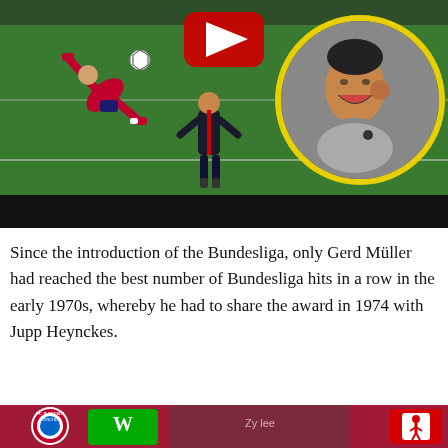[Figure (photo): A soccer/football game scene showing a bicycle kick by a player in red uniform, a referee in black, a goalkeeper in green, and a circular inset photo of a man laughing/reacting, with a YouTube play button overlay at the top center. Below the main image is a black bar.]
Since the introduction of the Bundesliga, only Gerd Müller had reached the best number of Bundesliga hits in a row in the early 1970s, whereby he had to share the award in 1974 with Jupp Heynckes.
[Figure (photo): A bottom strip image showing FC Bayern Munich and VfL Wolfsburg logos along with other Bundesliga branding, players and crowd in the background, and the Bundesliga logo on the right.]